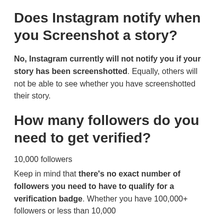Does Instagram notify when you Screenshot a story?
No, Instagram currently will not notify you if your story has been screenshotted. Equally, others will not be able to see whether you have screenshotted their story.
How many followers do you need to get verified?
10,000 followers
Keep in mind that there's no exact number of followers you need to have to qualify for a verification badge. Whether you have 100,000+ followers or less than 10,000